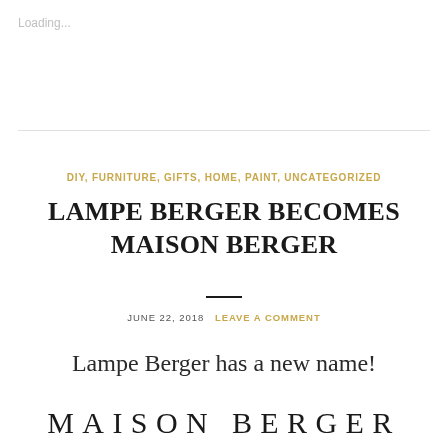Loading...
DIY, FURNITURE, GIFTS, HOME, PAINT, UNCATEGORIZED
LAMPE BERGER BECOMES MAISON BERGER
JUNE 22, 2018   LEAVE A COMMENT
Lampe Berger has a new name!
MAISON BERGER